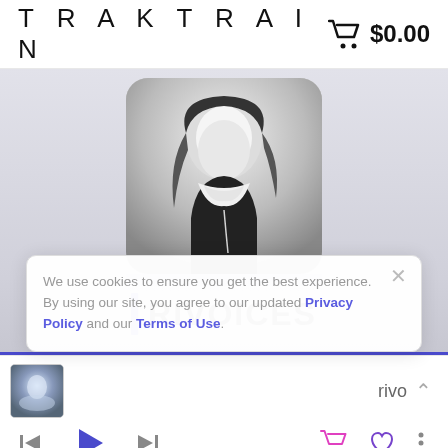TRAKTRAIN  $0.00
[Figure (photo): Black and white photo of a person (artist) with long hair, used as profile/artist image with rounded corners]
RIVOICES
We use cookies to ensure you get the best experience. By using our site, you agree to our updated Privacy Policy and our Terms of Use.
[Figure (photo): Small thumbnail image of album art (light blue/white tones) shown in the music player bar at the bottom]
rivo
Music player controls bar with skip-back, play, skip-forward buttons and cart, heart, more icons